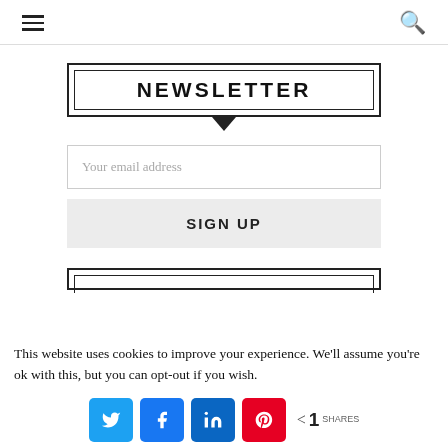[Figure (screenshot): Navigation bar with hamburger menu icon on left and search icon on right]
NEWSLETTER
[Figure (screenshot): Email input field with placeholder text 'Your email address']
SIGN UP
This website uses cookies to improve your experience. We'll assume you're ok with this, but you can opt-out if you wish.
[Figure (infographic): Social share buttons: Twitter, Facebook, LinkedIn, Pinterest, and share count showing 1 SHARES]